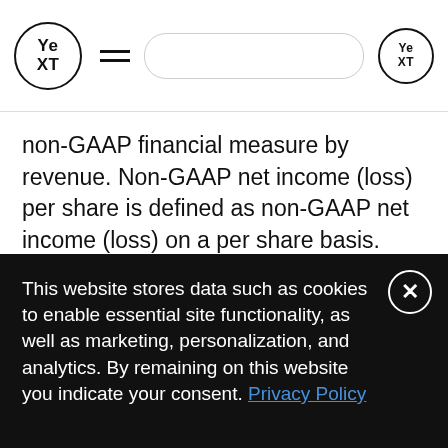Yext [logo header with navigation]
non-GAAP financial measure by revenue. Non-GAAP net income (loss) per share is defined as non-GAAP net income (loss) on a per share basis. See "Reconciliation of GAAP to Non-GAAP Financial Measures" for a discussion of the applicable weighted-average shares outstanding.
We believe these non-GAAP financial measures provide investors and other users
This website stores data such as cookies to enable essential site functionality, as well as marketing, personalization, and analytics. By remaining on this website you indicate your consent. Privacy Policy